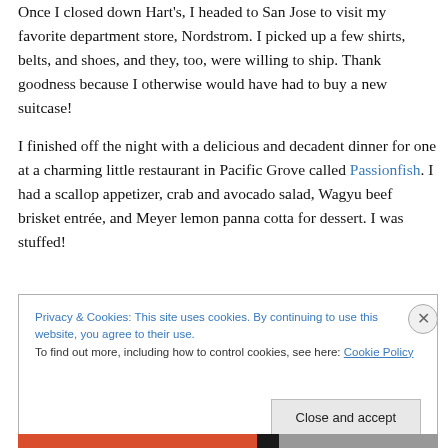Once I closed down Hart's, I headed to San Jose to visit my favorite department store, Nordstrom. I picked up a few shirts, belts, and shoes, and they, too, were willing to ship. Thank goodness because I otherwise would have had to buy a new suitcase!
I finished off the night with a delicious and decadent dinner for one at a charming little restaurant in Pacific Grove called Passionfish. I had a scallop appetizer, crab and avocado salad, Wagyu beef brisket entrée, and Meyer lemon panna cotta for dessert. I was stuffed!
Privacy & Cookies: This site uses cookies. By continuing to use this website, you agree to their use.
To find out more, including how to control cookies, see here: Cookie Policy